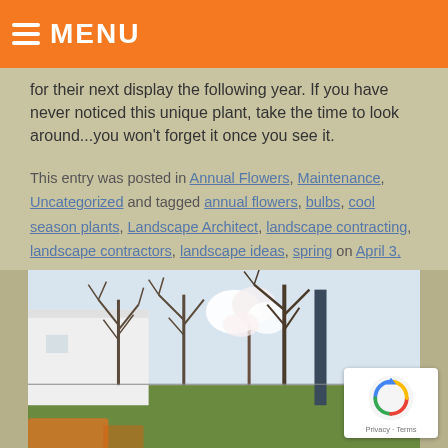MENU
for their next display the following year.  If you have never noticed this unique plant, take the time to look around...you won't forget it once you see it.
This entry was posted in Annual Flowers, Maintenance, Uncategorized and tagged annual flowers, bulbs, cool season plants, Landscape Architect, landscape contracting, landscape contractors, landscape ideas, spring on April 3, 2019.
[Figure (photo): Outdoor landscape photo showing trees with bare branches and one blooming white tree in spring, with a white building visible on the left side]